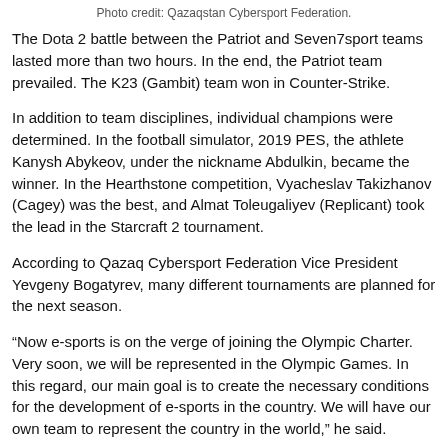Photo credit: Qazaqstan Cybersport Federation.
The Dota 2 battle between the Patriot and Seven7sport teams lasted more than two hours. In the end, the Patriot team prevailed. The K23 (Gambit) team won in Counter-Strike.
In addition to team disciplines, individual champions were determined. In the football simulator, 2019 PES, the athlete Kanysh Abykeov, under the nickname Abdulkin, became the winner. In the Hearthstone competition, Vyacheslav Takizhanov (Cagey) was the best, and Almat Toleugaliyev (Replicant) took the lead in the Starcraft 2 tournament.
According to Qazaq Cybersport Federation Vice President Yevgeny Bogatyrev, many different tournaments are planned for the next season.
“Now e-sports is on the verge of joining the Olympic Charter. Very soon, we will be represented in the Olympic Games. In this regard, our main goal is to create the necessary conditions for the development of e-sports in the country. We will have our own team to represent the country in the world,” he said.